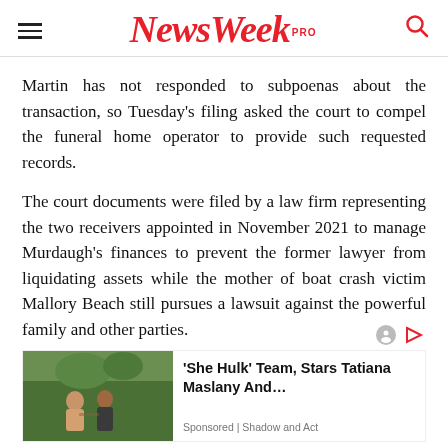NewsWeek PRO
Martin has not responded to subpoenas about the transaction, so Tuesday's filing asked the court to compel the funeral home operator to provide such requested records.
The court documents were filed by a law firm representing the two receivers appointed in November 2021 to manage Murdaugh's finances to prevent the former lawyer from liquidating assets while the mother of boat crash victim Mallory Beach still pursues a lawsuit against the powerful family and other parties.
[Figure (photo): Sponsored advertisement image showing two people outdoors with green foliage background, promoting 'She Hulk' Team, Stars Tatiana Maslany And... by Shadow and Act]